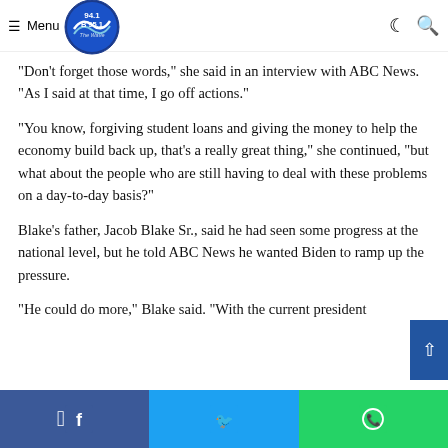Menu | 94.1 B 95.1 The Wave logo
“Don’t forget those words,” she said in an interview with ABC News. “As I said at that time, I go off actions.”
“You know, forgiving student loans and giving the money to help the economy build back up, that’s a really great thing,” she continued, “but what about the people who are still having to deal with these problems on a day-to-day basis?”
Blake’s father, Jacob Blake Sr., said he had seen some progress at the national level, but he told ABC News he wanted Biden to ramp up the pressure.
“He could do more,” Blake said. “With the current president
Facebook share | Twitter share | WhatsApp share